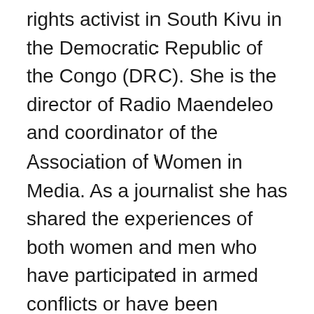rights activist in South Kivu in the Democratic Republic of the Congo (DRC). She is the director of Radio Maendeleo and coordinator of the Association of Women in Media. As a journalist she has shared the experiences of both women and men who have participated in armed conflicts or have been affected by violence. Ms. Kamuntu brings glaring cases of injustice to the forefront, and has attracted to daily threats against her life as a result. She continues to advocate for empowerment of communities through freedom of the press, supporting the creation of Radio Clubs and empowerment of women and men and their